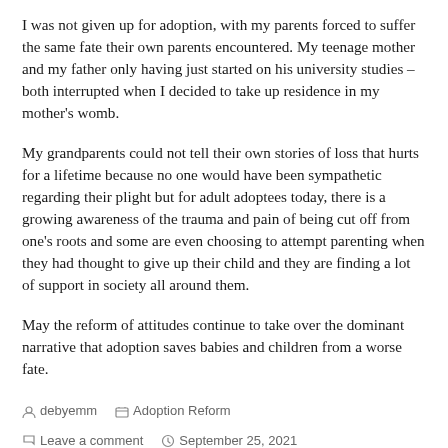I was not given up for adoption, with my parents forced to suffer the same fate their own parents encountered. My teenage mother and my father only having just started on his university studies – both interrupted when I decided to take up residence in my mother's womb.
My grandparents could not tell their own stories of loss that hurts for a lifetime because no one would have been sympathetic regarding their plight but for adult adoptees today, there is a growing awareness of the trauma and pain of being cut off from one's roots and some are even choosing to attempt parenting when they had thought to give up their child and they are finding a lot of support in society all around them.
May the reform of attitudes continue to take over the dominant narrative that adoption saves babies and children from a worse fate.
debyemm   Adoption Reform   Leave a comment   September 25, 2021   1 Minute